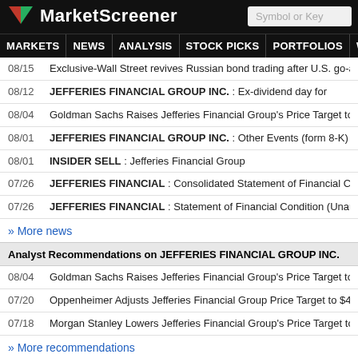MarketScreener | Symbol or Key
08/15 Exclusive-Wall Street revives Russian bond trading after U.S. go-ahead
08/12 JEFFERIES FINANCIAL GROUP INC. : Ex-dividend day for
08/04 Goldman Sachs Raises Jefferies Financial Group's Price Target to $37 Fr
08/01 JEFFERIES FINANCIAL GROUP INC. : Other Events (form 8-K)
08/01 INSIDER SELL : Jefferies Financial Group
07/26 JEFFERIES FINANCIAL : Consolidated Statement of Financial Condition
07/26 JEFFERIES FINANCIAL : Statement of Financial Condition (Unaudited)
» More news
Analyst Recommendations on JEFFERIES FINANCIAL GROUP INC.
08/04 Goldman Sachs Raises Jefferies Financial Group's Price Target to $37 Fr
07/20 Oppenheimer Adjusts Jefferies Financial Group Price Target to $46 From
07/18 Morgan Stanley Lowers Jefferies Financial Group's Price Target to $28 Fr
» More recommendations